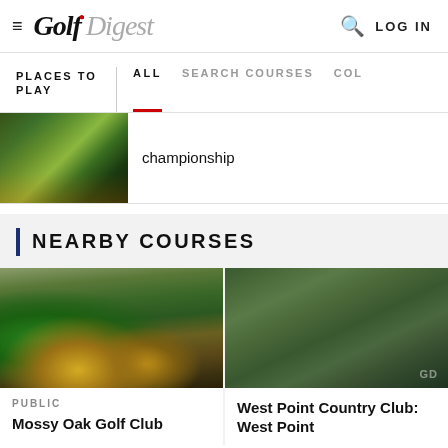Golf Digest — LOG IN
PLACES TO PLAY | ALL SEARCH COURSES COL
championship
NEARBY COURSES
PUBLIC
Mossy Oak Golf Club
West Point Country Club: West Point